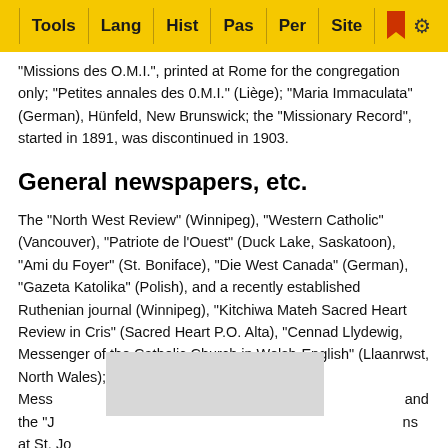Tools | Lang | Hist | Pas | Per | Site
"Missions des O.M.I.", printed at Rome for the congregation only; "Petites annales des 0.M.I." (Liège); "Maria Immaculata" (German), Hünfeld, New Brunswick; the "Missionary Record", started in 1891, was discontinued in 1903.
General newspapers, etc.
The "North West Review" (Winnipeg), "Western Catholic" (Vancouver), "Patriote de l'Ouest" (Duck Lake, Saskatoon), "Ami du Foyer" (St. Boniface), "Die West Canada" (German), "Gazeta Katolika" (Polish), and a recently established Ruthenian journal (Winnipeg), "Kitchiwa Mateh Sacred Heart Review in Cris" (Sacred Heart P.O. Alta), "Cennad Llydewig, Messenger of the Catholic Church in Welsh-English" (Llaanrwst, North Wales); "Ceylon Catholic Mess… and the "J… ns at St. Jo…